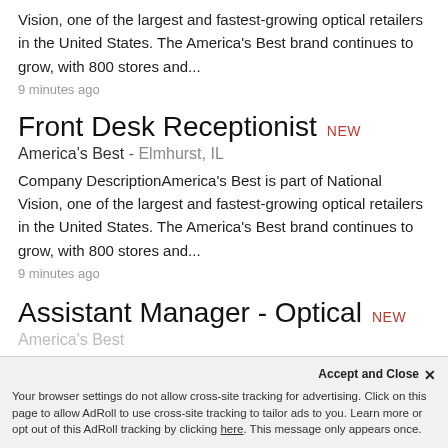Vision, one of the largest and fastest-growing optical retailers in the United States. The America's Best brand continues to grow, with 800 stores and...
9 minutes ago
Front Desk Receptionist NEW
America's Best - Elmhurst, IL
Company DescriptionAmerica's Best is part of National Vision, one of the largest and fastest-growing optical retailers in the United States. The America's Best brand continues to grow, with 800 stores and...
9 minutes ago
Assistant Manager - Optical NEW
America's Best
Accept and Close ✕ Your browser settings do not allow cross-site tracking for advertising. Click on this page to allow AdRoll to use cross-site tracking to tailor ads to you. Learn more or opt out of this AdRoll tracking by clicking here. This message only appears once.